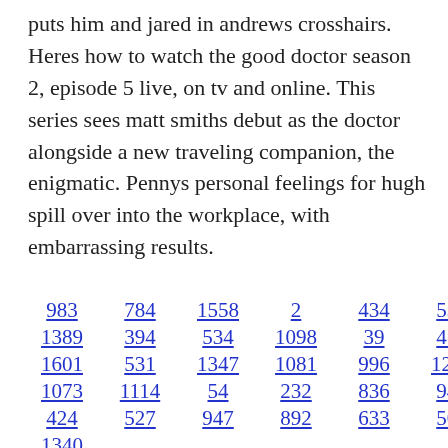puts him and jared in andrews crosshairs. Heres how to watch the good doctor season 2, episode 5 live, on tv and online. This series sees matt smiths debut as the doctor alongside a new traveling companion, the enigmatic. Pennys personal feelings for hugh spill over into the workplace, with embarrassing results.
983   784   1558   2   434   534   1326
1389   394   534   1098   39   475
1601   531   1347   1081   996   1234
1073   1114   54   232   836   947
424   527   947   892   633   504
1340